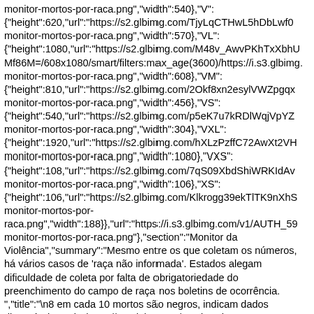monitor-mortos-por-raca.png","width":540},{"V": {"height":620,"url":"https://s2.glbimg.com/TjyLqCTHwL5hDbLwf0monitor-mortos-por-raca.png","width":570},"VL": {"height":1080,"url":"https://s2.glbimg.com/M48v_AwvPKhTxXbhUMf86M=/608x1080/smart/filters:max_age(3600)/https://i.s3.glbimg.monitor-mortos-por-raca.png","width":608},"VM": {"height":810,"url":"https://s2.glbimg.com/2Okf8xn2esylVWZpgqxmonitor-mortos-por-raca.png","width":456},"VS": {"height":540,"url":"https://s2.glbimg.com/p5eK7u7kRDlWqjVpYZmonitor-mortos-por-raca.png","width":304},"VXL": {"height":1920,"url":"https://s2.glbimg.com/hXLzPzffC72AwXt2VHmonitor-mortos-por-raca.png","width":1080},"VXS": {"height":108,"url":"https://s2.glbimg.com/7qS09XbdShiWRKIdAvmonitor-mortos-por-raca.png","width":106},"XS": {"height":106,"url":"https://s2.glbimg.com/Klkrogg39ekTlTK9nXhSmonitor-mortos-por-raca.png","width":188}},"url":"https://i.s3.glbimg.com/v1/AUTH_59monitor-mortos-por-raca.png"},"section":"Monitor da Violência","summary":"Mesmo entre os que coletam os números, há vários casos de 'raça não informada'. Estados alegam dificuldade de coleta por falta de obrigatoriedade do preenchimento do campo de raça nos boletins de ocorrência.","title":"\n8 em cada 10 mortos são negros, indicam dados disponíveis","url":"https://g1.globo.com/monitor-da-violencia/noticia/2022/05/04/11-estados-nao-divulgam-dados-